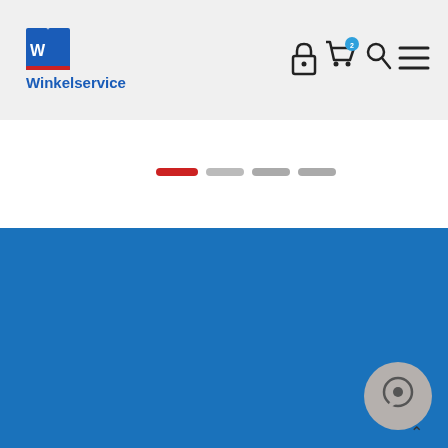[Figure (screenshot): Winkelservice website header with logo (blue W-shaped book icon and 'Winkelservice' text in blue), navigation icons (lock, cart with badge showing '2', search, hamburger menu) on grey background]
[Figure (screenshot): White hero/carousel section with four pagination dots (first dot red/active, three others grey/inactive)]
[Figure (screenshot): Blue promotional section background (solid blue #1a72bb) occupying lower half of page, with a grey circular chat/support button icon in bottom right corner]